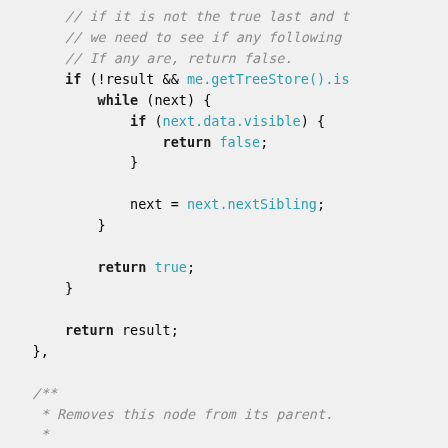Code snippet showing JavaScript logic with comments and a JSDoc block